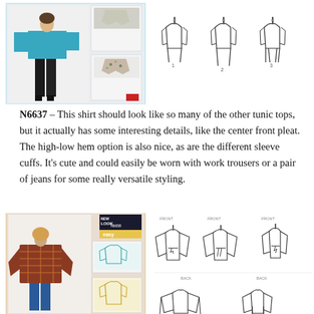[Figure (photo): Sewing pattern cover photo showing a model wearing a teal tunic top with black pants and heels, plus smaller inset images of the pattern views including a floral print version. Pattern number N6637.]
[Figure (illustration): Technical line drawings of the N6637 pattern showing front and back views of three garment variations - tunic tops with different sleeve and hem options.]
N6637 – This shirt should look like so many of the other tunic tops, but it actually has some interesting details, like the center front pleat. The high-low hem option is also nice, as are the different sleeve cuffs. It's cute and could easily be worn with work trousers or a pair of jeans for some really versatile styling.
[Figure (photo): New Look sewing pattern N6658 cover showing a model wearing a colorful patterned tunic with kimono-style sleeves, plus smaller pattern view images in teal and mustard yellow. Marked 'easy'.]
[Figure (illustration): Technical line drawings of the N6658 pattern showing front and back views - tunic tops with wide kimono sleeves, v-neck, and tie waist options in three views labeled FRONT, FRONT, FRONT, BACK, BACK.]